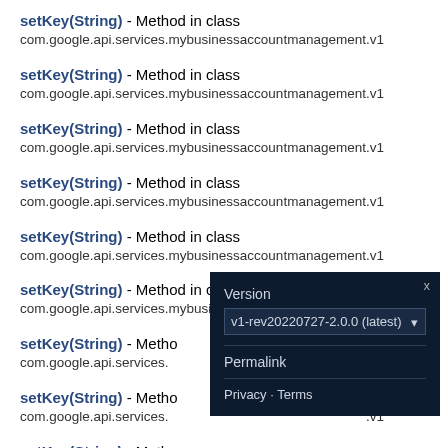setKey(String) - Method in class com.google.api.services.mybusinessaccountmanagement.v1
setKey(String) - Method in class com.google.api.services.mybusinessaccountmanagement.v1
setKey(String) - Method in class com.google.api.services.mybusinessaccountmanagement.v1
setKey(String) - Method in class com.google.api.services.mybusinessaccountmanagement.v1
setKey(String) - Method in class com.google.api.services.mybusinessaccountmanagement.v1
setKey(String) - Method in class com.google.api.services.mybusinessaccountmanagement.v1
setKey(String) - Method in class com.google.api.services.mybusinessaccountmanagement.v1
setKey(String) - Method in class com.google.api.services.mybusinessaccountmanagement.v1
setKey(String) - Method in class com.google.api.services.mybusinessaccountmanagement.v1
setKey(String) - Method in class
[Figure (screenshot): Version popup dialog with dropdown showing v1-rev20220727-2.0.0 (latest), Permalink link, and Privacy · Terms footer]